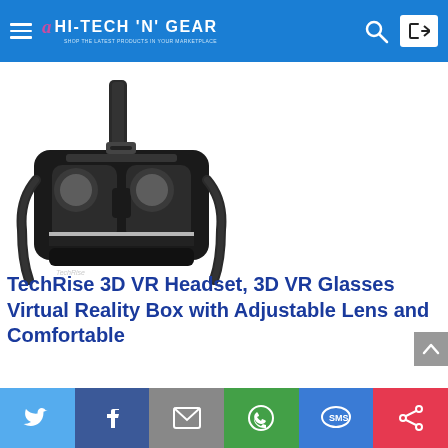HI-TECH 'N' GEAR
[Figure (photo): TechRise VR headset product photo - black 3D VR glasses/headset with head straps on white background]
TechRise 3D VR Headset, 3D VR Glasses Virtual Reality Box with Adjustable Lens and Comfortable
[Figure (infographic): Social sharing bar with Twitter, Facebook, Email, WhatsApp, SMS, and share icons]